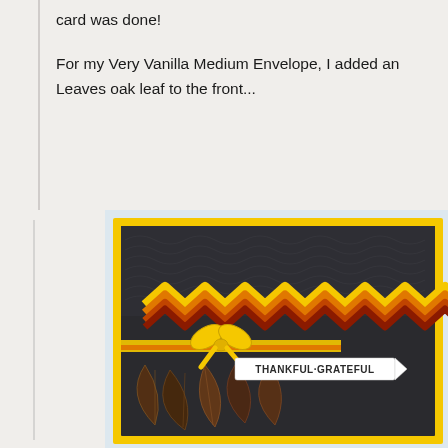card was done!
For my Very Vanilla Medium Envelope, I added an Leaves oak leaf to the front...
[Figure (photo): A handmade greeting card with dark embossed background, colorful zigzag ribbon layers in yellow, orange, and red, a yellow bow, and a label reading THANKFUL-GRATEFUL with bronze/gold leaf embellishments at the bottom.]